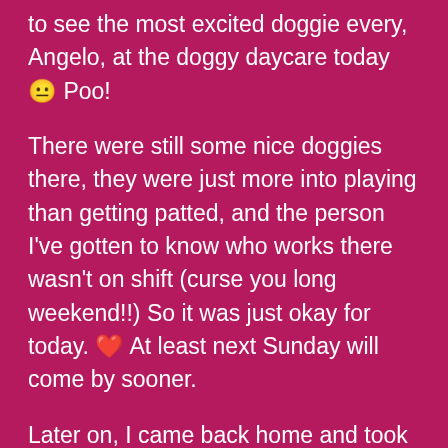to see the most excited doggie every, Angelo, at the doggy daycare today 😐 Poo!
There were still some nice doggies there, they were just more into playing than getting patted, and the person I've gotten to know who works there wasn't on shift (curse you long weekend!!) So it was just okay for today. ❤️ At least next Sunday will come by sooner.
Later on, I came back home and took a couple naps during the afternoon, spending some time just milling around on Youtube then some more time reading my book.
Then my parents and I went out for the early evening, I got to read in the car more in my book which is